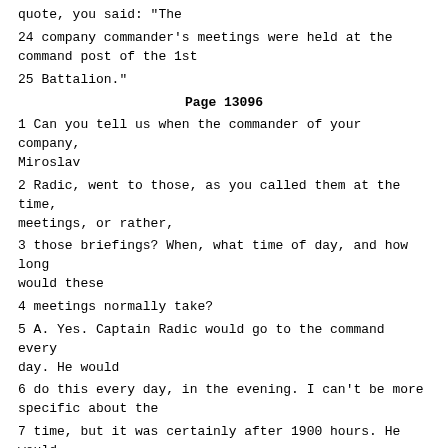quote, you said: "The
24 company commander's meetings were held at the command post of the 1st
25 Battalion."
Page 13096
1 Can you tell us when the commander of your company, Miroslav
2 Radic, went to those, as you called them at the time, meetings, or rather,
3 those briefings? When, what time of day, and how long would these
4 meetings normally take?
5 A. Yes. Captain Radic would go to the command every day. He would
6 do this every day, in the evening. I can't be more specific about the
7 time, but it was certainly after 1900 hours. He would stay between an
8 hour, an hour and a half, depending on the situation. But it was always